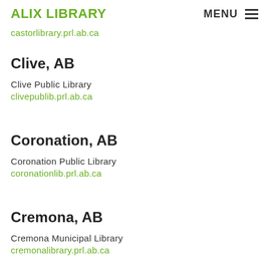ALIX LIBRARY  MENU
castorlibrary.prl.ab.ca
Clive, AB
Clive Public Library
clivepublib.prl.ab.ca
Coronation, AB
Coronation Public Library
coronationlib.prl.ab.ca
Cremona, AB
Cremona Municipal Library
cremonalibrary.prl.ab.ca
Czar, AB